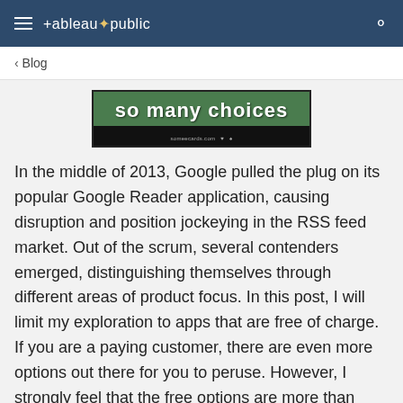tableau public
< Blog
[Figure (photo): Image with green background showing the text 'so many choices' in bold white Impact font, with a black bar at the bottom containing small text.]
In the middle of 2013, Google pulled the plug on its popular Google Reader application, causing disruption and position jockeying in the RSS feed market. Out of the scrum, several contenders emerged, distinguishing themselves through different areas of product focus. In this post, I will limit my exploration to apps that are free of charge. If you are a paying customer, there are even more options out there for you to peruse. However, I strongly feel that the free options are more than adequate to get the job done.